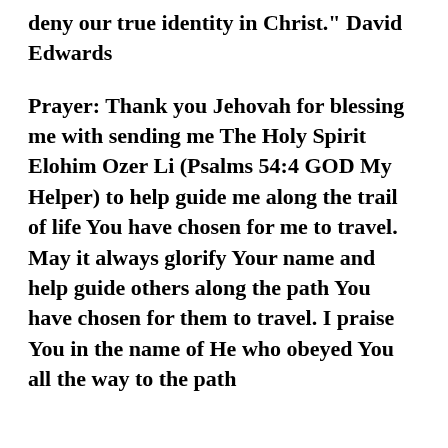deny our true identity in Christ.” David Edwards
Prayer: Thank you Jehovah for blessing me with sending me The Holy Spirit Elohim Ozer Li (Psalms 54:4 GOD My Helper) to help guide me along the trail of life You have chosen for me to travel. May it always glorify Your name and help guide others along the path You have chosen for them to travel. I praise You in the name of He who obeyed You all the way to the path